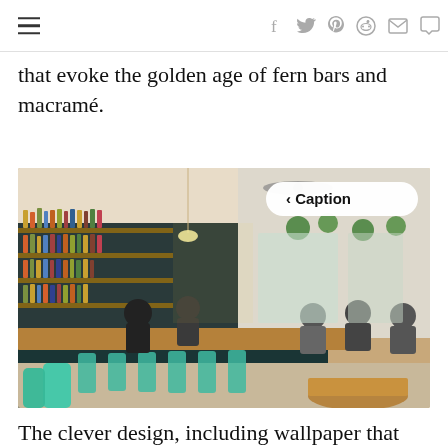navigation bar with hamburger menu and social icons: f (Facebook), Twitter, Pinterest, Reddit, email, comment
that evoke the golden age of fern bars and macramé.
[Figure (photo): Interior of a bar/restaurant with teal/mint green bar stools along a wooden bar counter, shelves of liquor bottles on the left wall, hanging plants, pendant lights, a ceiling fan, and patrons seated at the bar and at round wooden tables. A '< Caption' button overlay appears in the top right of the photo.]
The clever design, including wallpaper that evokes